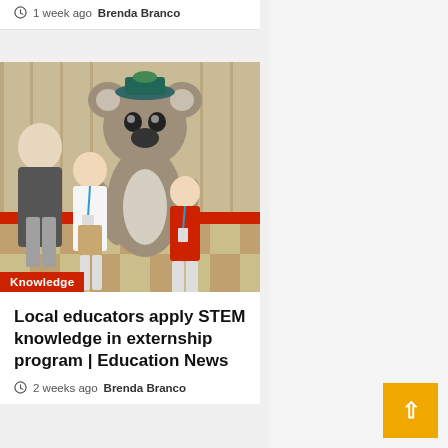1 week ago  Brenda Branco
[Figure (photo): Two girls and a woman posing with a large koala mascot in a gymnasium or convention hall. The koala mascot is wearing a cap. A red category badge labeled 'Knowledge' appears at the bottom left of the photo.]
Local educators apply STEM knowledge in externship program | Education News
2 weeks ago  Brenda Branco